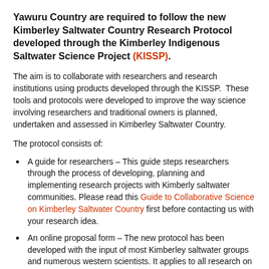Yawuru Country are required to follow the new Kimberley Saltwater Country Research Protocol developed through the Kimberley Indigenous Saltwater Science Project (KISSP).
The aim is to collaborate with researchers and research institutions using products developed through the KISSP.  These tools and protocols were developed to improve the way science involving researchers and traditional owners is planned, undertaken and assessed in Kimberley Saltwater Country.
The protocol consists of:
A guide for researchers – This guide steps researchers through the process of developing, planning and implementing research projects with Kimberly saltwater communities. Please read this Guide to Collaborative Science on Kimberley Saltwater Country first before contacting us with your research idea.
An online proposal form – The new protocol has been developed with the input of most Kimberley saltwater groups and numerous western scientists. It applies to all research on natural and cultural resources occurring on the lands or seas of Kimberley saltwater people. Once you have contacted us with your research concept, use this form to submit the